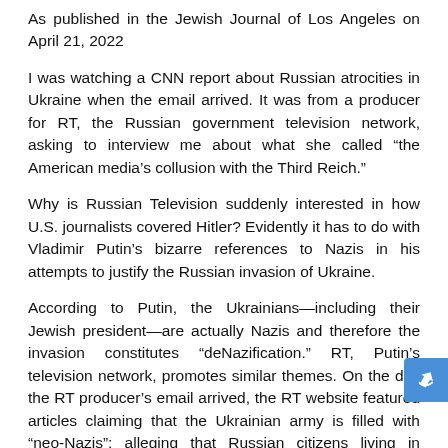As published in the Jewish Journal of Los Angeles on April 21, 2022
I was watching a CNN report about Russian atrocities in Ukraine when the email arrived. It was from a producer for RT, the Russian government television network, asking to interview me about what she called “the American media’s collusion with the Third Reich.”
Why is Russian Television suddenly interested in how U.S. journalists covered Hitler? Evidently it has to do with Vladimir Putin’s bizarre references to Nazis in his attempts to justify the Russian invasion of Ukraine.
According to Putin, the Ukrainians—including their Jewish president—are actually Nazis and therefore the invasion constitutes “deNazification.” RT, Putin’s television network, promotes similar themes. On the day the RT producer’s email arrived, the RT website featured articles claiming that the Ukrainian army is filled with “neo-Nazis”; alleging that Russian citizens living in Ukraine are under attack from “neo-Nazi groups integrated into the government of Ukraine”; and asserting that the Biden